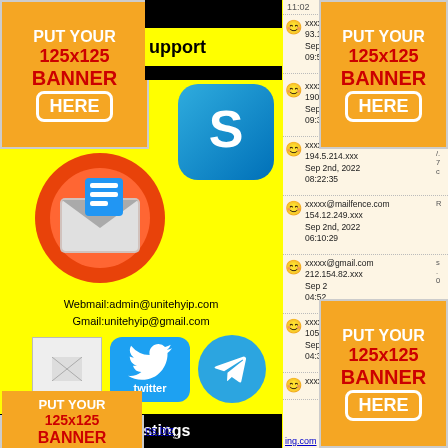[Figure (infographic): PUT YOUR 125x125 BANNER HERE ad placeholder, top-left, orange background]
upport
[Figure (photo): Skype logo icon, blue rounded square]
[Figure (illustration): Orange/red circular logo icon with envelope]
Webmail:admin@unitehyip.com
Gmail:unitehyip@gmail.com
[Figure (logo): Twitter bird logo blue]
[Figure (logo): Telegram paper plane logo blue circle]
New Listings
[Figure (infographic): PUT YOUR 125x125 BANNER HERE ad placeholder, bottom-left, orange background]
ns.biz
0,200%
ing.com
11:02
xxxxx
93.18
Sep 2
09:55
[Figure (infographic): PUT YOUR 125x125 BANNER HERE ad placeholder, top-right, orange background]
xxxxx
190.1
Sep 2nd, 2022
09:31:19
xxxxx@tutanota.com
194.5.214.xxx
Sep 2nd, 2022
08:22:35
xxxxx@mailfence.com
154.12.249.xxx
Sep 2nd, 2022
06:10:29
xxxxx@gmail.com
212.154.82.xxx
Sep 2
04:52
xxxxx
105.1
Sep 2
04:38
[Figure (infographic): PUT YOUR 125x125 BANNER HERE ad placeholder, bottom-right, orange background]
xxxxx